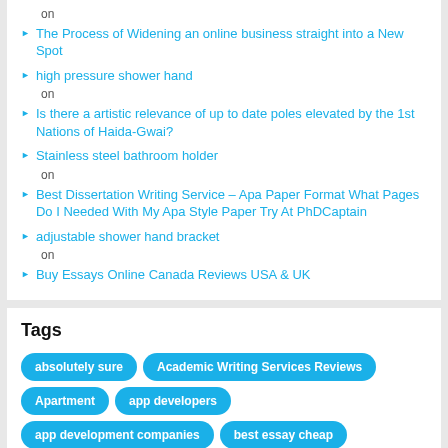on
The Process of Widening an online business straight into a New Spot
high pressure shower hand
on
Is there a artistic relevance of up to date poles elevated by the 1st Nations of Haida-Gwai?
Stainless steel bathroom holder
on
Best Dissertation Writing Service – Apa Paper Format What Pages Do I Needed With My Apa Style Paper Try At PhDCaptain
adjustable shower hand bracket
on
Buy Essays Online Canada Reviews USA & UK
Tags
absolutely sure
Academic Writing Services Reviews
Apartment
app developers
app development companies
best essay cheap
Business Development
buy essay cheap